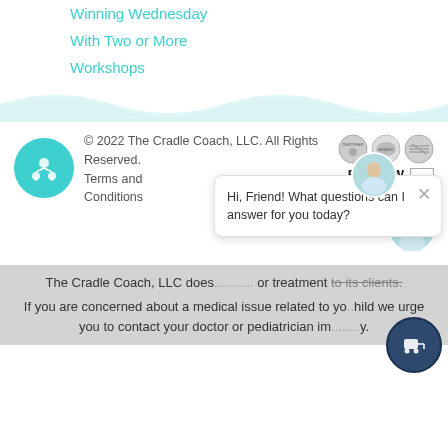Winning Wednesday
With Two or More
Workshops
© 2022 The Cradle Coach, LLC. All Rights Reserved.
Terms and Conditions
[Figure (logo): Three certification/badge circular logos]
FOLLOW US
[Figure (photo): Woman photo in circle for chat avatar]
Hi, Friend! What questions can I answer for you today?
The Cradle Coach, LLC does ... or treatment to its clients.
If you are concerned about a medical issue related to your child we urge you to contact your doctor or pediatrician immediately.